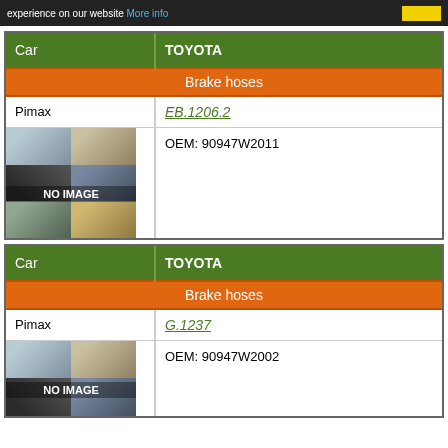experience on our website More info
| Car | TOYOTA |
| --- | --- |
| Brake hoses |  |
| Pimax | EB.1206.2 |
| [image] | OEM: 90947W2011 |
| Car | TOYOTA |
| --- | --- |
| Brake hoses |  |
| Pimax | G.1237 |
| [image] | OEM: 90947W2002 |